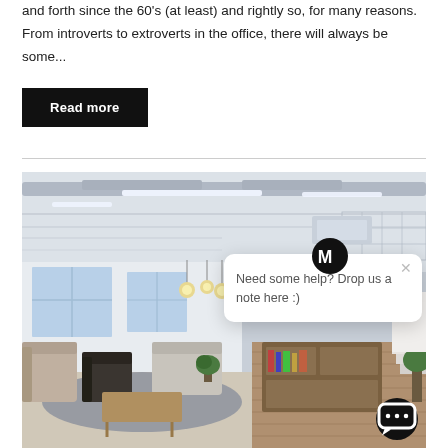and forth since the 60's (at least) and rightly so, for many reasons.  From introverts to extroverts in the office, there will always be some...
Read more
[Figure (photo): Interior photo of a modern open-plan office/lounge space with exposed ceiling ducts, fluorescent strip lighting, pendant lights, large windows, plants, chairs, sofas, a coffee table, and a wooden bookshelf unit. A chat popup overlay is visible in the lower-right portion of the image showing the text 'Need some help? Drop us a note here :)' with an M/W logo and a close button, plus a dark circular chat button in the bottom right corner.]